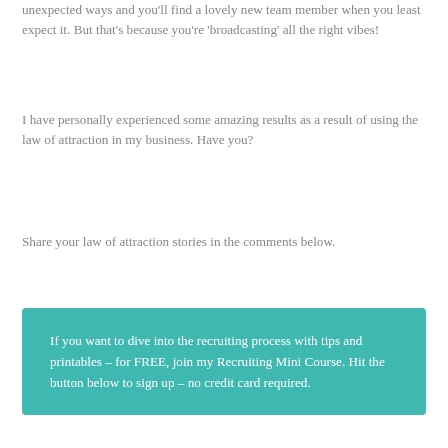unexpected ways and you'll find a lovely new team member when you least expect it. But that's because you're 'broadcasting' all the right vibes!
I have personally experienced some amazing results as a result of using the law of attraction in my business. Have you?
Share your law of attraction stories in the comments below.
If you want to dive into the recruiting process with tips and printables – for FREE, join my Recruiting Mini Course. Hit the button below to sign up – no credit card required.